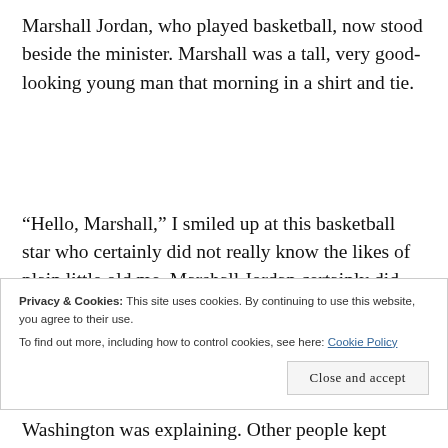Marshall Jordan, who played basketball, now stood beside the minister. Marshall was a tall, very good-looking young man that morning in a shirt and tie.
“Hello, Marshall,” I smiled up at this basketball star who certainly did not really know the likes of plain little old me. Marshall Jordan certainly did not know my name at all. Marshall smiled politely down on me
Privacy & Cookies: This site uses cookies. By continuing to use this website, you agree to their use.
To find out more, including how to control cookies, see here: Cookie Policy
Washington was explaining. Other people kept